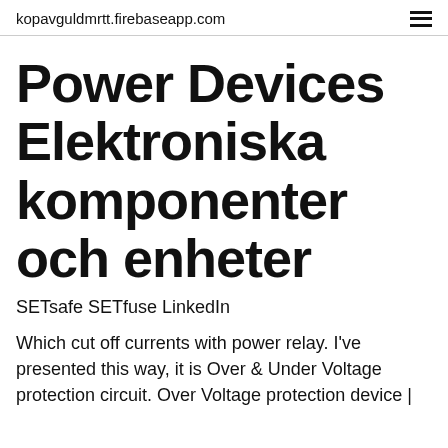kopavguldmrtt.firebaseapp.com
Power Devices Elektroniska komponenter och enheter
SETsafe SETfuse LinkedIn
Which cut off currents with power relay. I've presented this way, it is Over & Under Voltage protection circuit. Over Voltage protection device |